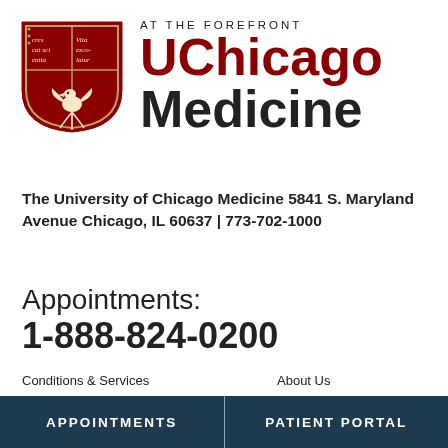[Figure (logo): UChicago Medicine logo with shield crest on the left and 'AT THE FOREFRONT / UChicago / Medicine' text on the right]
The University of Chicago Medicine 5841 S. Maryland Avenue Chicago, IL 60637 | 773-702-1000
Appointments:
1-888-824-0200
Conditions & Services
About Us
APPOINTMENTS | PATIENT PORTAL